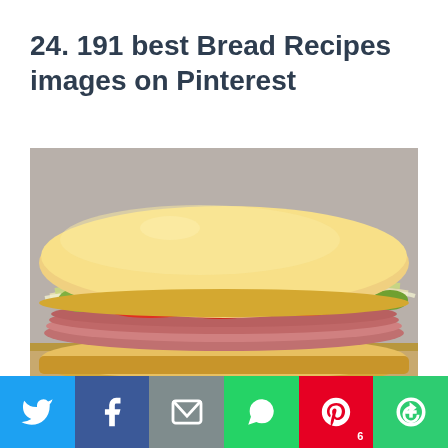24. 191 best Bread Recipes images on Pinterest
[Figure (photo): A large submarine sandwich with ham, tomatoes, lettuce, peppers, and shredded cheese on a hoagie roll, photographed on a wooden surface]
[Figure (infographic): Social media share bar with Twitter (blue), Facebook (dark blue), Email (gray), WhatsApp (green), Pinterest with count 6 (red), and More (green) buttons]